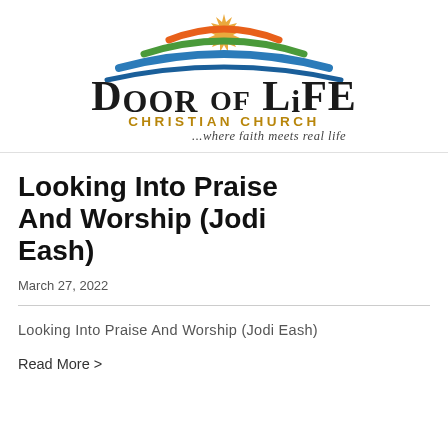[Figure (logo): Door of Life Christian Church logo with colorful abstract swoosh/arc graphic above text reading 'DOOR OF LIFE' in large serif font and 'CHRISTIAN CHURCH' in gold spaced capitals, with italic script tagline '...where faith meets real life']
Looking Into Praise And Worship (Jodi Eash)
March 27, 2022
Looking Into Praise And Worship (Jodi Eash)
Read More >